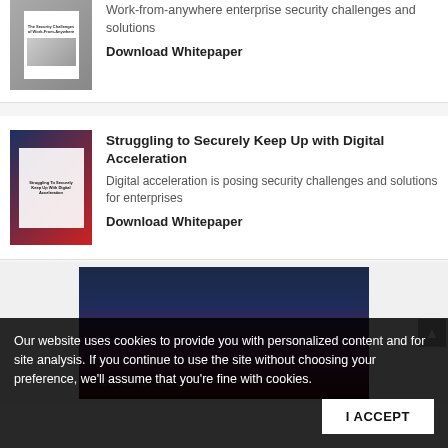[Figure (illustration): Partial whitepaper card with image at top of page, cut off]
Work-from-anywhere enterprise security challenges and solutions
Download Whitepaper
Struggling to Securely Keep Up with Digital Acceleration
Digital acceleration is posing security challenges and solutions for enterprises
Download Whitepaper
[Figure (illustration): Dark banner image with CYBERSECURITY BUSINESS SHOW 2022 text overlay]
Our website uses cookies to provide you with personalized content and for site analysis. If you continue to use the site without choosing your preference, we'll assume that you're fine with cookies.
I ACCEPT